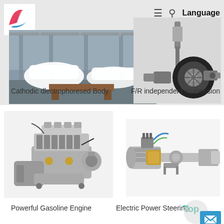[Figure (logo): Company logo with red and blue swoosh design]
≡  🔍  Language
[Figure (photo): Car body manufacturing facility with white car body frames on assembly line]
[Figure (photo): F/R independent suspension assembly with wheel and strut]
Cathodic dlectrophoresed Body
F/R independent suspension
[Figure (photo): Powerful gasoline engine assembly]
[Figure (photo): Electric Power Steering mechanism]
Powerful Gasoline Engine
Electric Power Steering